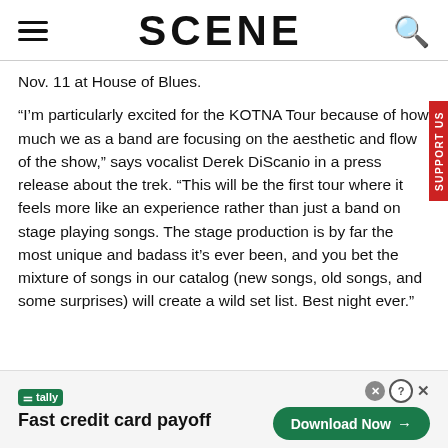SCENE
Nov. 11 at House of Blues.
“I’m particularly excited for the KOTNA Tour because of how much we as a band are focusing on the aesthetic and flow of the show,” says vocalist Derek DiScanio in a press release about the trek. “This will be the first tour where it feels more like an experience rather than just a band on stage playing songs. The stage production is by far the most unique and badass it’s ever been, and you bet the mixture of songs in our catalog (new songs, old songs, and some surprises) will create a wild set list. Best night ever.”
[Figure (other): Tally app advertisement banner: 'Fast credit card payoff' with Download Now button]